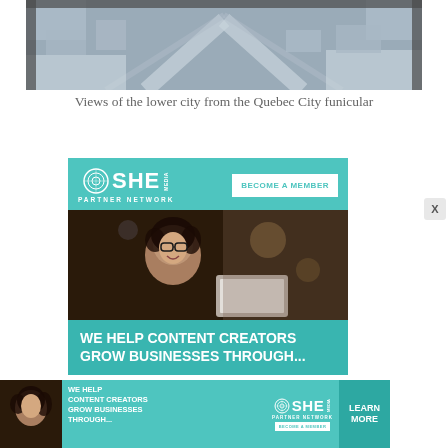[Figure (photo): Aerial view of lower city from Quebec City funicular, showing snow-covered rooftops and roads]
Views of the lower city from the Quebec City funicular
[Figure (infographic): SHE Media Partner Network advertisement with 'BECOME A MEMBER' button, photo of smiling woman with glasses holding laptop, and text 'WE HELP CONTENT CREATORS GROW BUSINESSES THROUGH...']
[Figure (infographic): SHE Media Partner Network bottom banner ad with text 'WE HELP CONTENT CREATORS GROW BUSINESSES THROUGH...' and 'LEARN MORE' button]